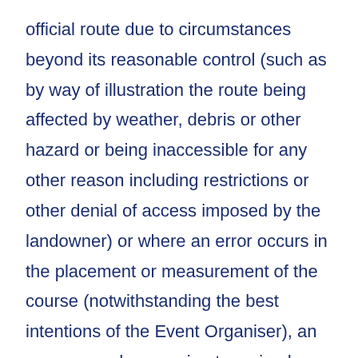official route due to circumstances beyond its reasonable control (such as by way of illustration the route being affected by weather, debris or other hazard or being inaccessible for any other reason including restrictions or other denial of access imposed by the landowner) or where an error occurs in the placement or measurement of the course (notwithstanding the best intentions of the Event Organiser), an unmeasured, approximate revised route will be accepted by the Participant as an alternative. Where such alterations invalidate the terms of any event license granted by the respective regulatory body, any results will be withheld from publication therein and the Participant will not be